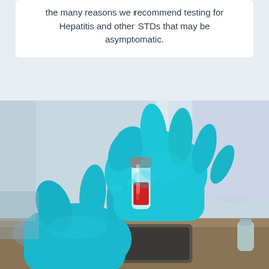the many reasons we recommend testing for Hepatitis and other STDs that may be asymptomatic.
[Figure (photo): Gloved hands in blue latex gloves holding a small blood sample vial in a laboratory setting. The vial contains a red liquid (blood sample) with a grey cap. Person wearing a white lab coat in the background.]